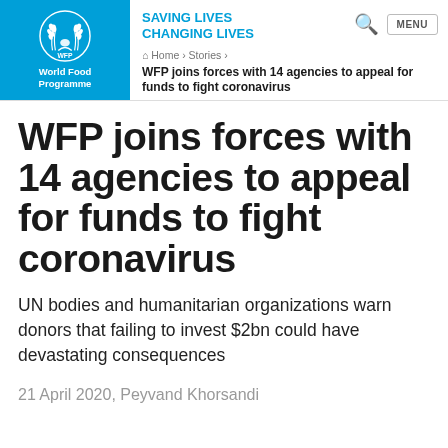WFP SAVING LIVES CHANGING LIVES World Food Programme
Home › Stories ›
WFP joins forces with 14 agencies to appeal for funds to fight coronavirus
WFP joins forces with 14 agencies to appeal for funds to fight coronavirus
UN bodies and humanitarian organizations warn donors that failing to invest $2bn could have devastating consequences
21 April 2020, Peyvand Khorsandi